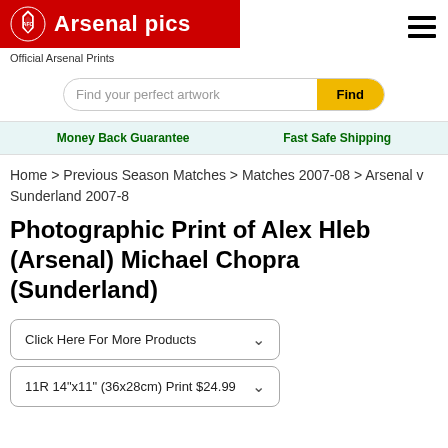Arsenal pics
Official Arsenal Prints
Find your perfect artwork  Find
Money Back Guarantee   Fast Safe Shipping
Home > Previous Season Matches > Matches 2007-08 > Arsenal v Sunderland 2007-8
Photographic Print of Alex Hleb (Arsenal) Michael Chopra (Sunderland)
Click Here For More Products
11R 14"x11" (36x28cm) Print $24.99